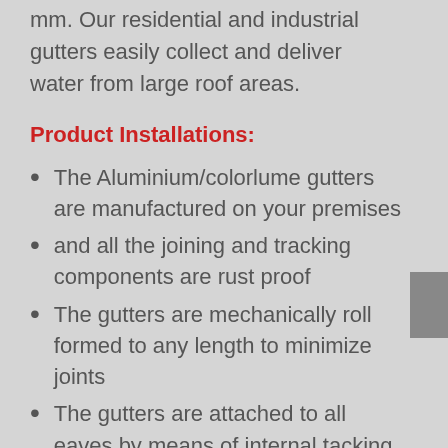mm. Our residential and industrial gutters easily collect and deliver water from large roof areas.
Product Installations:
The Aluminium/colorlume gutters are manufactured on your premises
and all the joining and tracking components are rust proof
The gutters are mechanically roll formed to any length to minimize joints
The gutters are attached to all eaves by means of internal tacking components consisting of